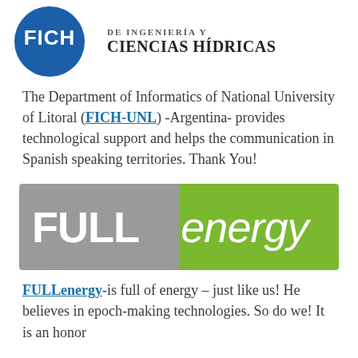[Figure (logo): FICH logo: blue circle with FICH text, alongside bold uppercase text 'DE INGENIERÍA Y CIENCIAS HÍDRICAS']
The Department of Informatics of National University of Litoral (FICH-UNL) -Argentina- provides technological support and helps the communication in Spanish speaking territories. Thank You!
[Figure (logo): FULLenergy logo: gray rectangle with 'FULL' in white bold text, green rectangle with 'energy' in white italic text]
FULLenergy-is full of energy – just like us! He believes in epoch-making technologies. So do we! It is an honor